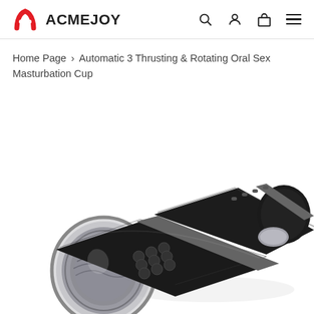ACMEJOY
Home Page › Automatic 3 Thrusting & Rotating Oral Sex Masturbation Cup
[Figure (photo): Black cylindrical automatic masturbation cup device shown at an angle, with a transparent end cap revealing internal textured structure, a middle section with circular bumps/knobs, a gray accent ring, and a top section with small ventilation holes and a gray oval button.]